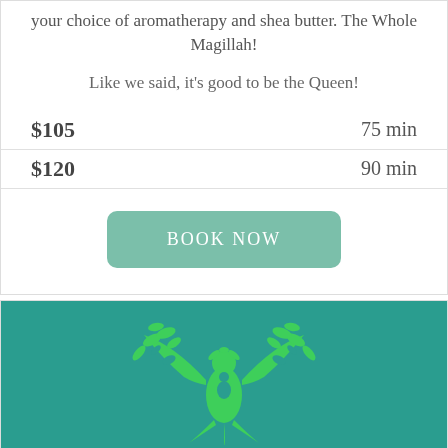your choice of aromatherapy and shea butter. The Whole Magillah!
Like we said, it's good to be the Queen!
| Price | Duration |
| --- | --- |
| $105 | 75 min |
| $120 | 90 min |
BOOK NOW
[Figure (logo): Green phoenix/bird logo on teal background]